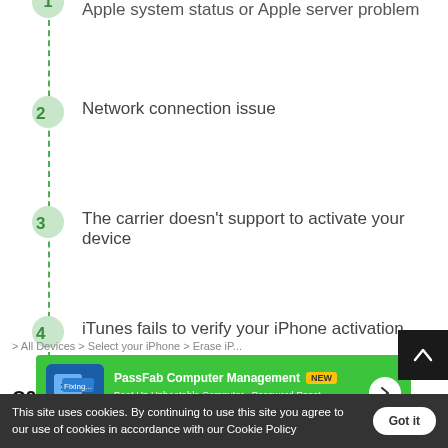1. Apple system status or Apple server problem
2. Network connection issue
3. The carrier doesn't support to activate your device
4. iTunes fails to verify your iPhone activation
Q2: How do I turn off activation lock?
If y...
[Figure (screenshot): PassFab Computer Management advertisement banner with NEW badge, blue icon, and arrow button on green background]
This site uses cookies. By continuing to use this site you agree to our use of cookies in accordance with our Cookie Policy
> All Devices > Select your iPhone > Erase iP...